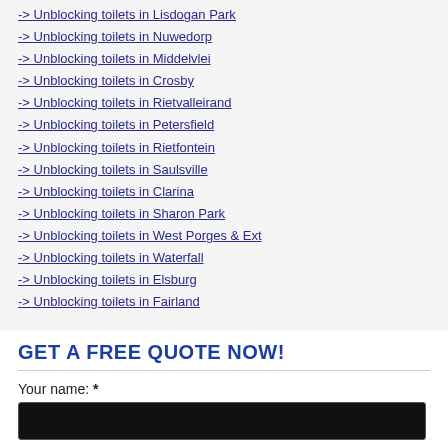-> Unblocking toilets in Lisdogan Park
-> Unblocking toilets in Nuwedorp
-> Unblocking toilets in Middelvlei
-> Unblocking toilets in Crosby
-> Unblocking toilets in Rietvalleirand
-> Unblocking toilets in Petersfield
-> Unblocking toilets in Rietfontein
-> Unblocking toilets in Saulsville
-> Unblocking toilets in Clarina
-> Unblocking toilets in Sharon Park
-> Unblocking toilets in West Porges & Ext
-> Unblocking toilets in Waterfall
-> Unblocking toilets in Elsburg
-> Unblocking toilets in Fairland
GET A FREE QUOTE NOW!
Your name: *
Your email: